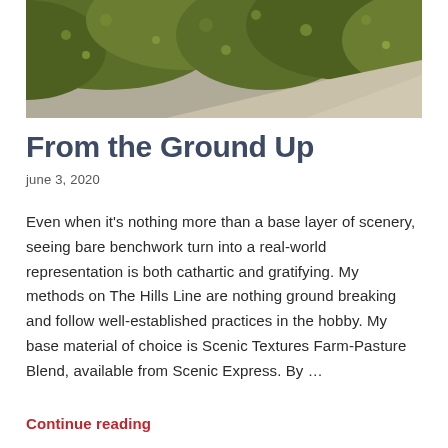[Figure (photo): Aerial or close-up photo of a green mossy/grassy hedge or ground cover alongside a paved surface, taken from above at an angle.]
From the Ground Up
june 3, 2020
Even when it's nothing more than a base layer of scenery, seeing bare benchwork turn into a real-world representation is both cathartic and gratifying. My methods on The Hills Line are nothing ground breaking and follow well-established practices in the hobby. My base material of choice is Scenic Textures Farm-Pasture Blend, available from Scenic Express. By …
Continue reading